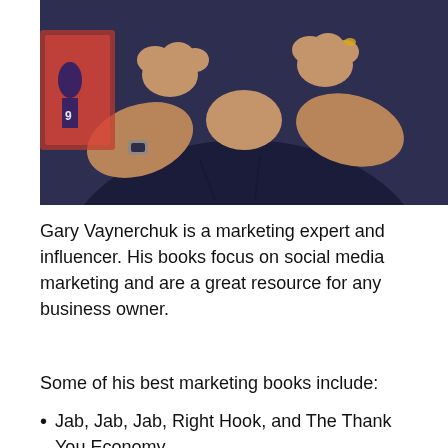[Figure (photo): Photo of Gary Vaynerchuk, a man in a dark navy t-shirt with hands raised in fist position, cropped from chest up. A sports image is visible in the background on the left side.]
Gary Vaynerchuk is a marketing expert and influencer. His books focus on social media marketing and are a great resource for any business owner.
Some of his best marketing books include:
Jab, Jab, Jab, Right Hook, and The Thank You Economy.
Twelve and a Half: Leveraging the Emotional Ingredients Necessary for Business Success